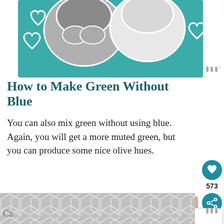[Figure (illustration): Two dog faces on a teal background with white heart outlines]
How to Make Green Without Blue
You can also mix green without using blue. Again, you will get a more muted green, but you can produce some nice olive hues.
Possible color combinations for green without blue:
[Figure (illustration): Geometric hexagon pattern in gray and white]